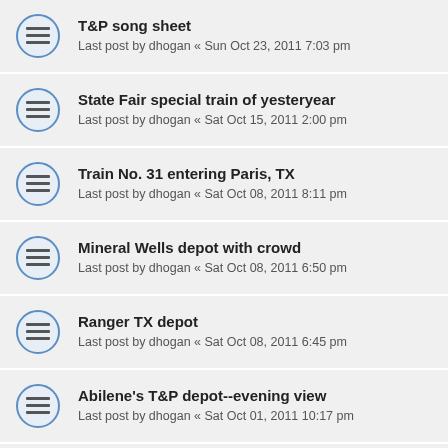T&P song sheet
Last post by dhogan « Sun Oct 23, 2011 7:03 pm
State Fair special train of yesteryear
Last post by dhogan « Sat Oct 15, 2011 2:00 pm
Train No. 31 entering Paris, TX
Last post by dhogan « Sat Oct 08, 2011 8:11 pm
Mineral Wells depot with crowd
Last post by dhogan « Sat Oct 08, 2011 6:50 pm
Ranger TX depot
Last post by dhogan « Sat Oct 08, 2011 6:45 pm
Abilene's T&P depot--evening view
Last post by dhogan « Sat Oct 01, 2011 10:17 pm
New Orleans' T&P-MP station
Last post by dhogan « Sat Sep 24, 2011 9:28 am
Shreveport T&P depots--both of them
Last post by dhogan « Sat Sep 24, 2011 9:15 am
T&P 1000-something tabletop disclaimer (partial)